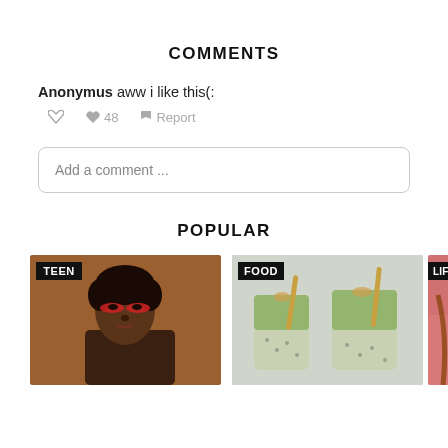COMMENTS
Anonymus aww i like this(:
↩  ♥ 48   ⚑ Report
Add a comment ...
POPULAR
[Figure (photo): TEEN label on image of dark-skinned woman with red eye makeup on brown background]
[Figure (photo): FOOD label on image of chia pudding cups with lime slices and straws]
[Figure (photo): LIFEST label on partial image of person with pink background]